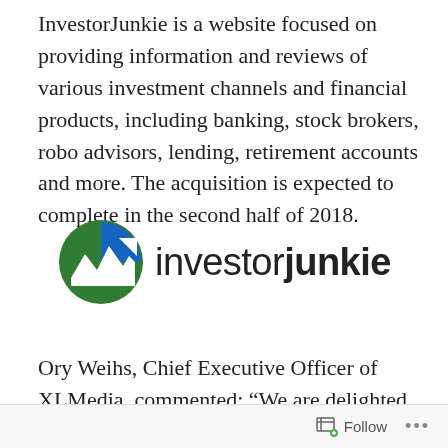InvestorJunkie is a website focused on providing information and reviews of various investment channels and financial products, including banking, stock brokers, robo advisors, lending, retirement accounts and more. The acquisition is expected to complete in the second half of 2018.
[Figure (logo): InvestorJunkie logo: circular icon with blue and green M-shaped chart arrow, followed by text 'investorjunkie' with 'junkie' in bold]
Ory Weihs, Chief Executive Officer of XLMedia, commented: “We are delighted to announce the acquisition of InvestorJunkie, a very well known brand in North America. The U.S. personal finance market is a key growth market for our business, and this latest acquisition
Follow ...